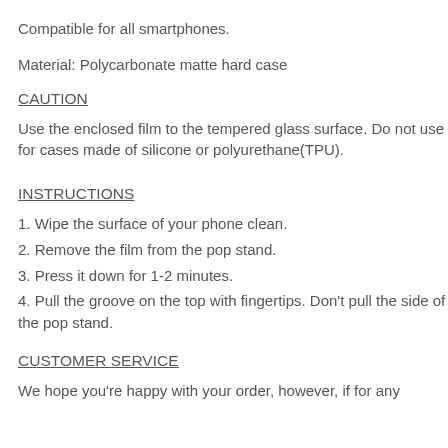Compatible for all smartphones.
Material: Polycarbonate matte hard case
CAUTION
Use the enclosed film to the tempered glass surface. Do not use for cases made of silicone or polyurethane(TPU).
INSTRUCTIONS
1. Wipe the surface of your phone clean.
2. Remove the film from the pop stand.
3. Press it down for 1-2 minutes.
4. Pull the groove on the top with fingertips. Don't pull the side of the pop stand.
CUSTOMER SERVICE
We hope you're happy with your order, however, if for any